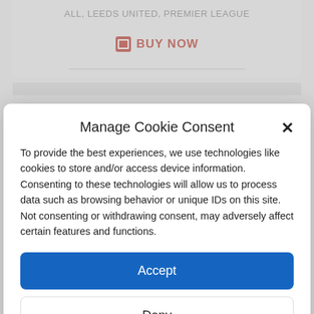ALL, LEEDS UNITED, PREMIER LEAGUE
BUY NOW
Manage Cookie Consent
To provide the best experiences, we use technologies like cookies to store and/or access device information. Consenting to these technologies will allow us to process data such as browsing behavior or unique IDs on this site. Not consenting or withdrawing consent, may adversely affect certain features and functions.
Accept
Deny
View preferences
Cookie Policy